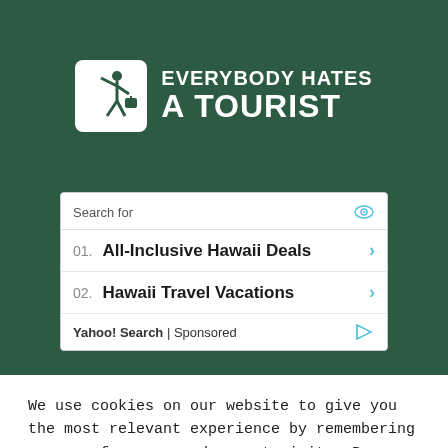[Figure (logo): Everybody Hates A Tourist logo: white rounded square icon with stick figure carrying luggage, next to bold white text 'EVERYBODY HATES A TOURIST' on dark green background]
[Figure (screenshot): Yahoo! Search sponsored ad box with 'Search for' header and two items: 01. All-Inclusive Hawaii Deals, 02. Hawaii Travel Vacations]
We use cookies on our website to give you the most relevant experience by remembering your preferences and repeat visits. By clicking “Accept”, you consent to the use of ALL the cookies.
Do not sell my personal information.
Cookie Settings | Accept